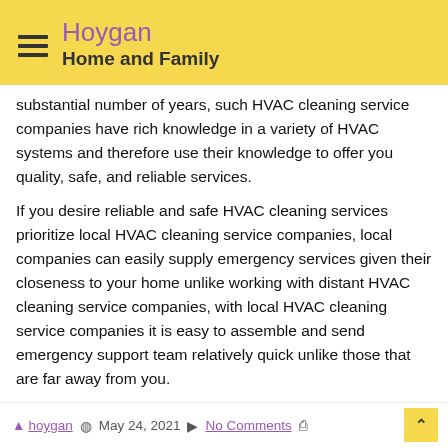Hoygan — Home and Family
substantial number of years, such HVAC cleaning service companies have rich knowledge in a variety of HVAC systems and therefore use their knowledge to offer you quality, safe, and reliable services.
If you desire reliable and safe HVAC cleaning services prioritize local HVAC cleaning service companies, local companies can easily supply emergency services given their closeness to your home unlike working with distant HVAC cleaning service companies, with local HVAC cleaning service companies it is easy to assemble and send emergency support team relatively quick unlike those that are far away from you.
hoygan  May 24, 2021  No Comments